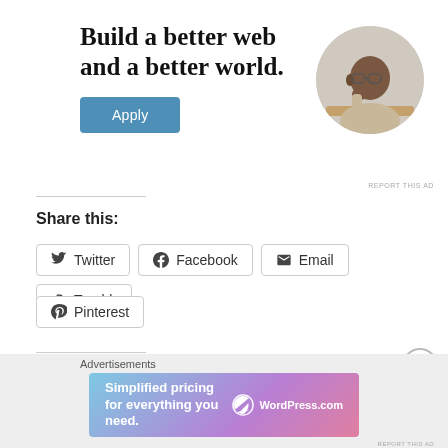[Figure (illustration): Advertisement banner with headline 'Build a better web and a better world.' with an Apply button and circular photo of a man thinking at a desk]
REPORT THIS AD
Share this:
Twitter
Facebook
Email
Tumblr
Pinterest
Like this:
Loading...
Advertisements
[Figure (illustration): WordPress.com advertisement banner: 'Simplified pricing for everything you need.' with WordPress.com logo]